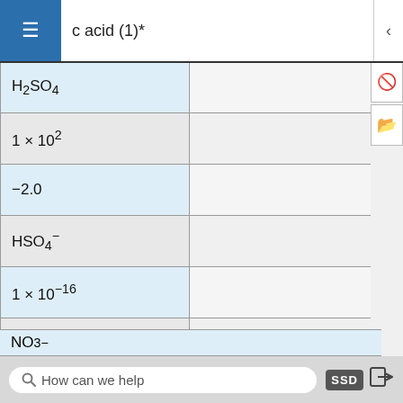c acid (1)*
| Acid / Formula / Ka / pKa |  |
| --- | --- |
| H2SO4 |  |
| 1 × 10^2 |  |
| -2.0 |  |
| HSO4^- |  |
| 1 × 10^-16 |  |
| 16.0 |  |
| nitric acid |  |
| HNO3 |  |
| 2.3 × 10^1 |  |
| -1.37 |  |
| NO3^- |  |
How can we help